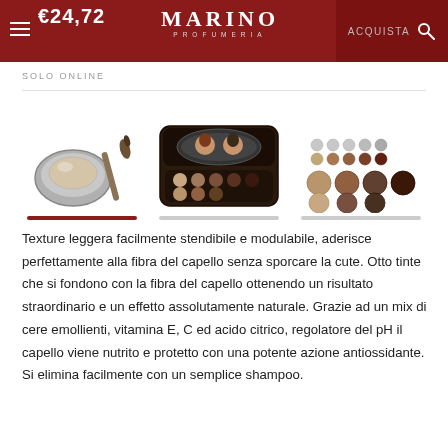€24,72 — MARINO PROFUMERIA — ACQUISTA
SOLO ONLINE
[Figure (photo): Three product thumbnail images: a compact eyeshadow with brush, a makeup palette with mirror, and a color swatch grid showing 8 shades of browns and taupes]
Texture leggera facilmente stendibile e modulabile, aderisce perfettamente alla fibra del capello senza sporcare la cute. Otto tinte che si fondono con la fibra del capello ottenendo un risultato straordinario e un effetto assolutamente naturale. Grazie ad un mix di cere emollienti, vitamina E, C ed acido citrico, regolatore del pH il capello viene nutrito e protetto con una potente azione antiossidante. Si elimina facilmente con un semplice shampoo.